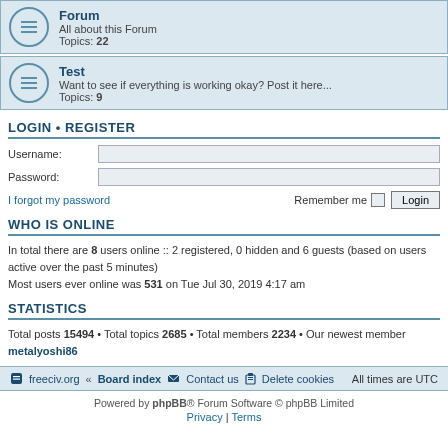Forum
All about this Forum
Topics: 22
Test
Want to see if everything is working okay? Post it here...
Topics: 9
LOGIN • REGISTER
Username:
Password:
I forgot my password    Remember me [ ] Login
WHO IS ONLINE
In total there are 8 users online :: 2 registered, 0 hidden and 6 guests (based on users active over the past 5 minutes)
Most users ever online was 531 on Tue Jul 30, 2019 4:17 am
STATISTICS
Total posts 15494 • Total topics 2685 • Total members 2234 • Our newest member metalyoshi86
freeciv.org · Board index   Contact us   Delete cookies   All times are UTC
Powered by phpBB® Forum Software © phpBB Limited
Privacy | Terms